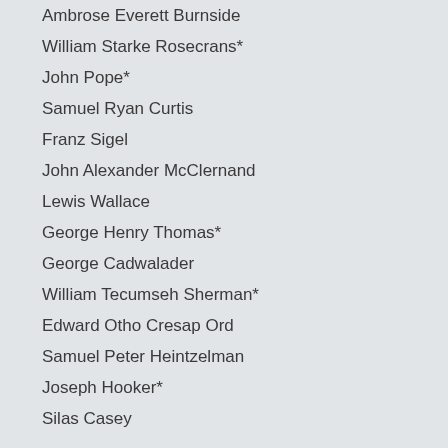Ambrose Everett Burnside
William Starke Rosecrans*
John Pope*
Samuel Ryan Curtis
Franz Sigel
John Alexander McClernand
Lewis Wallace
George Henry Thomas*
George Cadwalader
William Tecumseh Sherman*
Edward Otho Cresap Ord
Samuel Peter Heintzelman
Joseph Hooker*
Silas Casey